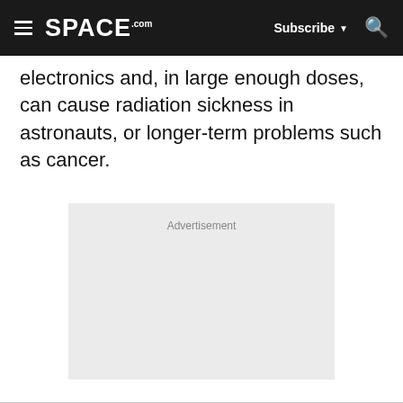SPACE.com — Subscribe, Search
electronics and, in large enough doses, can cause radiation sickness in astronauts, or longer-term problems such as cancer.
[Figure (other): Advertisement placeholder box with label 'Advertisement']